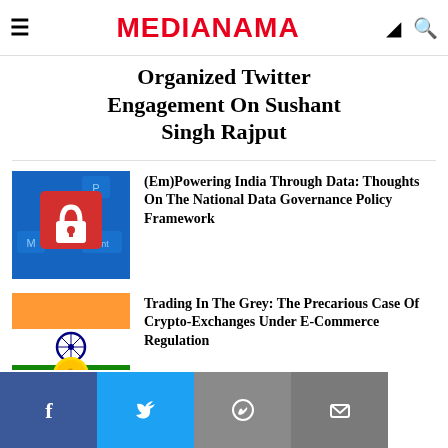MEDIANAMA
Organized Twitter Engagement On Sushant Singh Rajput
[Figure (photo): A red padlock icon on a keyboard key labeled 'Enter', set against a blue digital background with binary code and keyboard keys including 'M'.]
(Em)Powering India Through Data: Thoughts On The National Data Governance Policy Framework
[Figure (photo): Indian flag colors (saffron, white, green) with Ashoka Chakra and a Bitcoin gold coin in front, representing crypto in India.]
Trading In The Grey: The Precarious Case Of Crypto-Exchanges Under E-Commerce Regulation
f  Twitter  WhatsApp  Email